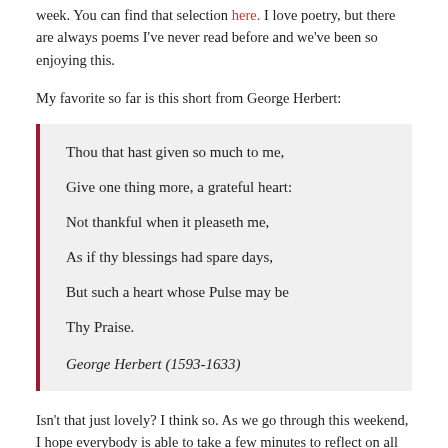week. You can find that selection here. I love poetry, but there are always poems I've never read before and we've been so enjoying this.
My favorite so far is this short from George Herbert:
Thou that hast given so much to me,
Give one thing more, a grateful heart:
Not thankful when it pleaseth me,
As if thy blessings had spare days,
But such a heart whose Pulse may be
Thy Praise.

George Herbert (1593-1633)
Isn't that just lovely? I think so. As we go through this weekend, I hope everybody is able to take a few minutes to reflect on all that we really have to be thankful for.